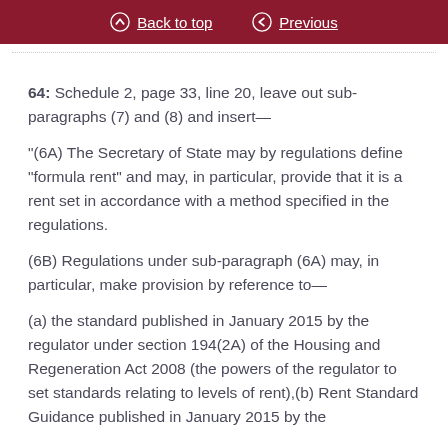Back to top  Previous
64: Schedule 2, page 33, line 20, leave out sub-paragraphs (7) and (8) and insert—
“(6A) The Secretary of State may by regulations define “formula rent” and may, in particular, provide that it is a rent set in accordance with a method specified in the regulations.
(6B) Regulations under sub-paragraph (6A) may, in particular, make provision by reference to—
(a) the standard published in January 2015 by the regulator under section 194(2A) of the Housing and Regeneration Act 2008 (the powers of the regulator to set standards relating to levels of rent),(b) Rent Standard Guidance published in January 2015 by the